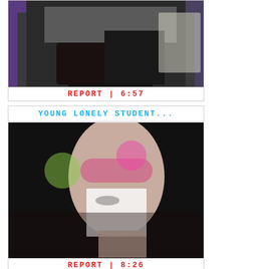[Figure (photo): Person in black dress seated in ornate silver chair, interior background]
REPORT | 6:57
YOUNG LONELY STUDENT...
[Figure (photo): Person with pink-green hair wearing glasses and white blouse with black bow]
REPORT | 8:26